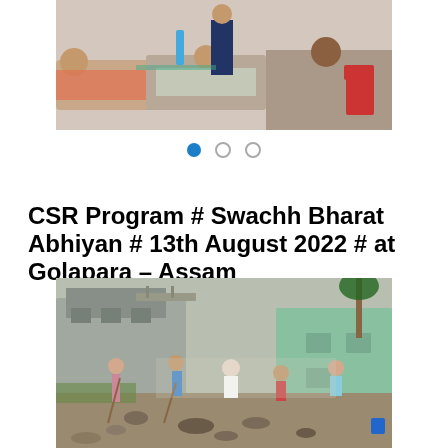[Figure (photo): People lying on cots receiving blood donation services in an indoor medical setting with red chairs visible.]
[Figure (infographic): Carousel navigation dots: one filled blue dot and two empty circle dots.]
CSR Program # Swachh Bharat Abhiyan # 13th August 2022 # at Golapara – Assam
[Figure (photo): Group of people working outdoors, sweeping and cleaning a rocky ground between buildings as part of the Swachh Bharat Abhiyan clean-up drive in Golapara, Assam.]